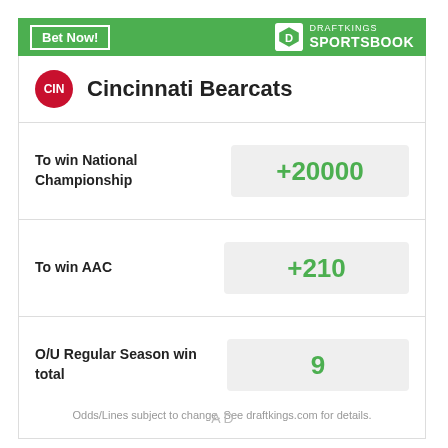[Figure (other): DraftKings Sportsbook betting widget for Cincinnati Bearcats showing odds for National Championship, AAC, and O/U Regular Season win total]
Cincinnati Bearcats
To win National Championship
+20000
To win AAC
+210
O/U Regular Season win total
9
Odds/Lines subject to change. See draftkings.com for details.
AD